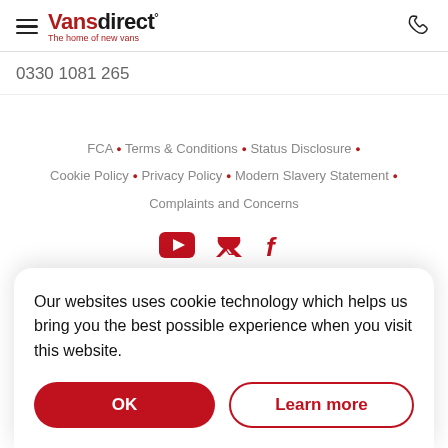Vansdirect° The home of new vans | 0330 1081 265
FCA • Terms & Conditions • Status Disclosure • Cookie Policy • Privacy Policy • Modern Slavery Statement • Complaints and Concerns
[Figure (illustration): Social media icons: YouTube, Twitter/X, Facebook in red]
Our websites uses cookie technology which helps us bring you the best possible experience when you visit this website.
OK | Learn more